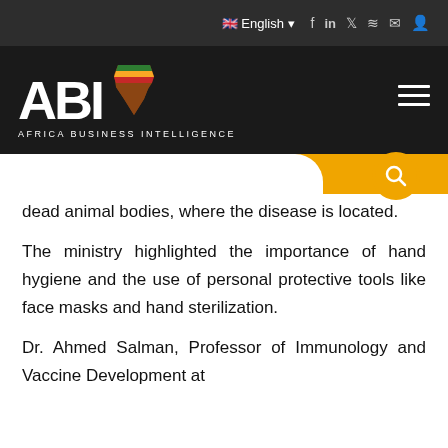Africa Business Intelligence — English navigation bar with social icons
[Figure (logo): ABI Africa Business Intelligence logo — white text 'ABI' with colorful Africa map silhouette and subtitle 'AFRICA BUSINESS INTELLIGENCE' on dark background]
dead animal bodies, where the disease is located.
The ministry highlighted the importance of hand hygiene and the use of personal protective tools like face masks and hand sterilization.
Dr. Ahmed Salman, Professor of Immunology and Vaccine Development at